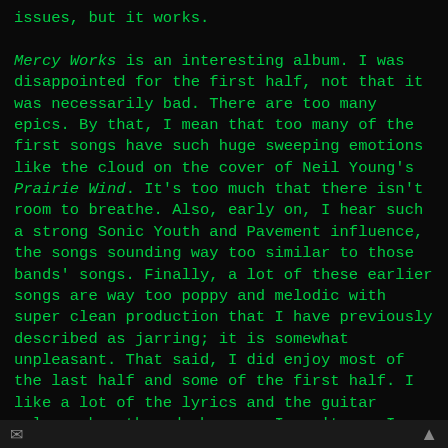issues, but it works.

Mercy Works is an interesting album. I was disappointed for the first half, not that it was necessarily bad. There are too many epics. By that, I mean that too many of the first songs have such huge sweeping emotions like the cloud on the cover of Neil Young's Prairie Wind. It's too much that there isn't room to breathe. Also, early on, I hear such a strong Sonic Youth and Pavement influence, the songs sounding way too similar to those bands' songs. Finally, a lot of these earlier songs are way too poppy and melodic with super clean production that I have previously described as jarring; it is somewhat unpleasant. That said, I did enjoy most of the last half and some of the first half. I like a lot of the lyrics and the guitar solos, when they do happen. I can't say I really love this album, and it also isn't bad. If only it was more like their live soun
✉  ▲